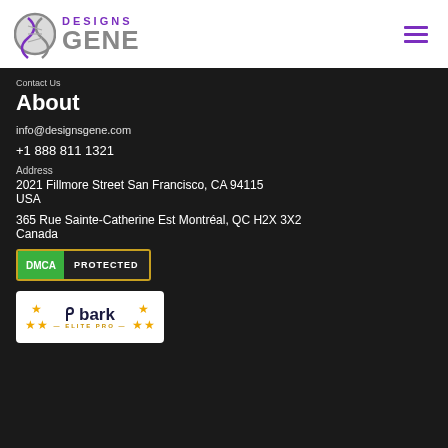[Figure (logo): Designs Gene logo with DNA helix icon, purple DESIGNS text, gray GENE text]
Contact Us
About
info@designsgene.com
+1 888 811 1321
Address
2021 Fillmore Street San Francisco, CA 94115
USA
365 Rue Sainte-Catherine Est Montréal, QC H2X 3X2
Canada
[Figure (logo): DMCA Protected badge with green DMCA section and dark PROTECTED section, gold border]
[Figure (logo): Bark Elite Pro badge with stars and bark logo on white background]